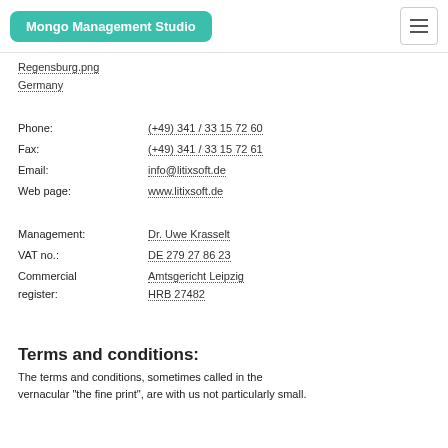Mongo Management Studio
Regensburg
Germany
Phone: (+49) 341 / 33 15 72 60
Fax: (+49) 341 / 33 15 72 61
Email: info@litixsoft.de
Web page: www.litixsoft.de
Management: Dr. Uwe Krasselt
VAT no.: DE 279 27 86 23
Commercial register: Amtsgericht Leipzig
HRB 27482
Terms and conditions:
The terms and conditions, sometimes called in the vernacular "the fine print", are with us not particularly small.